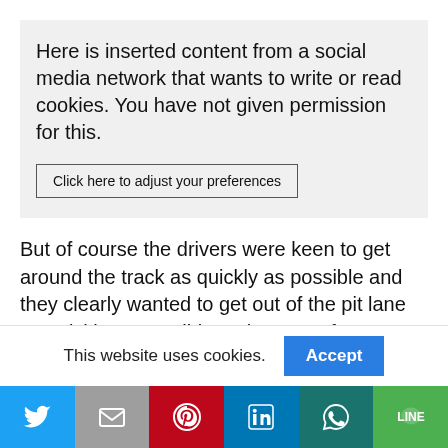Here is inserted content from a social media network that wants to write or read cookies. You have not given permission for this.
Click here to adjust your preferences
But of course the drivers were keen to get around the track as quickly as possible and they clearly wanted to get out of the pit lane as quickly as possible at the start of Q1 to get onto the track. They were all afraid of a possible interruption of
This website uses cookies.
Accept